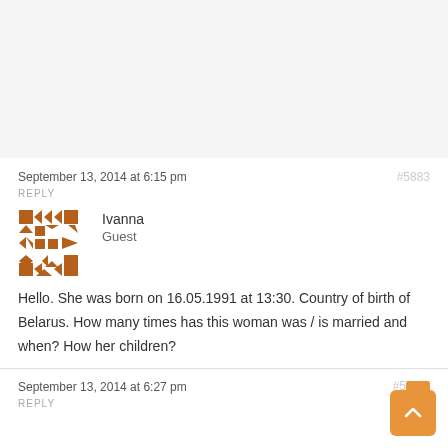September 13, 2014 at 6:15 pm
#5883
REPLY
Ivanna
Guest
[Figure (illustration): Brown pixel/geometric avatar icon with arrows and squares pattern]
Hello. She was born on 16.05.1991 at 13:30. Country of birth of Belarus. How many times has this woman was / is married and when? How her children?
September 13, 2014 at 6:27 pm
#5...
REPLY